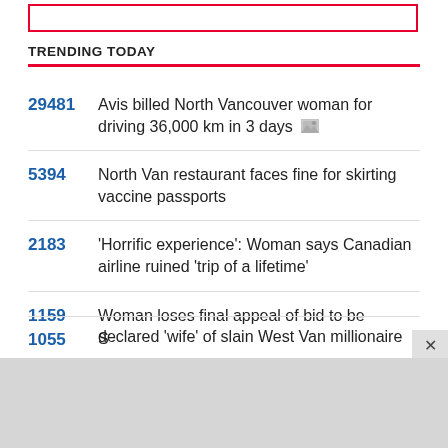TRENDING TODAY
29481 Avis billed North Vancouver woman for driving 36,000 km in 3 days
5394 North Van restaurant faces fine for skirting vaccine passports
2183 'Horrific experience': Woman says Canadian airline ruined 'trip of a lifetime'
1159 Woman loses final appeal of bid to be declared 'wife' of slain West Van millionaire
1055 [partial, text cut off]